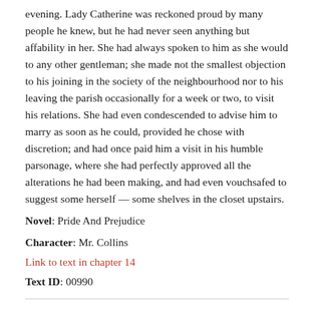evening. Lady Catherine was reckoned proud by many people he knew, but he had never seen anything but affability in her. She had always spoken to him as she would to any other gentleman; she made not the smallest objection to his joining in the society of the neighbourhood nor to his leaving the parish occasionally for a week or two, to visit his relations. She had even condescended to advise him to marry as soon as he could, provided he chose with discretion; and had once paid him a visit in his humble parsonage, where she had perfectly approved all the alterations he had been making, and had even vouchsafed to suggest some herself — some shelves in the closet upstairs.
Novel: Pride And Prejudice
Character: Mr. Collins
Link to text in chapter 14
Text ID: 00990
“The garden in which stands my humble abode is separated only by a lane from Rosings Park, her ladyship’s residence.”
Novel: Pride And Prejudice
Character: Mr. Collins
Link to text in chapter 14